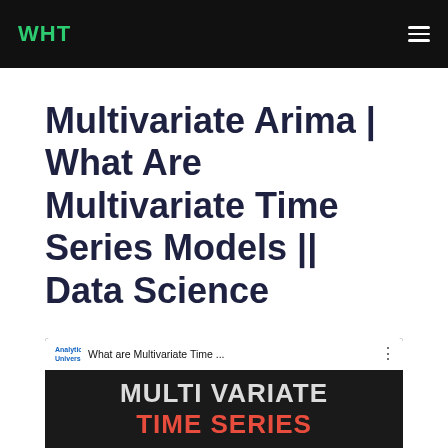WHT
Multivariate Arima | What Are Multivariate Time Series Models || Data Science
[Figure (screenshot): Video thumbnail showing Analytics University YouTube video titled 'What are Multivariate Time...' with dark background and large text reading 'MULTI VARIATE TIME SERIES']